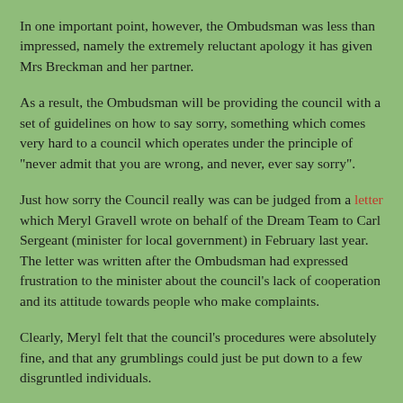In one important point, however, the Ombudsman was less than impressed, namely the extremely reluctant apology it has given Mrs Breckman and her partner.
As a result, the Ombudsman will be providing the council with a set of guidelines on how to say sorry, something which comes very hard to a council which operates under the principle of "never admit that you are wrong, and never, ever say sorry".
Just how sorry the Council really was can be judged from a letter which Meryl Gravell wrote on behalf of the Dream Team to Carl Sergeant (minister for local government) in February last year. The letter was written after the Ombudsman had expressed frustration to the minister about the council's lack of cooperation and its attitude towards people who make complaints.
Clearly, Meryl felt that the council's procedures were absolutely fine, and that any grumblings could just be put down to a few disgruntled individuals.
Getting from there to a position of being able to admit mistakes and apologise unreservedly for them will present County Hall with